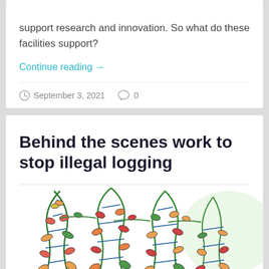support research and innovation. So what do these facilities support?
Continue reading →
September 3, 2021   0
Behind the scenes work to stop illegal logging
[Figure (illustration): Colorful hand-drawn illustration of DNA double helix strands intertwined with plant/tree branches, featuring orange, red, green and blue colors on white background]